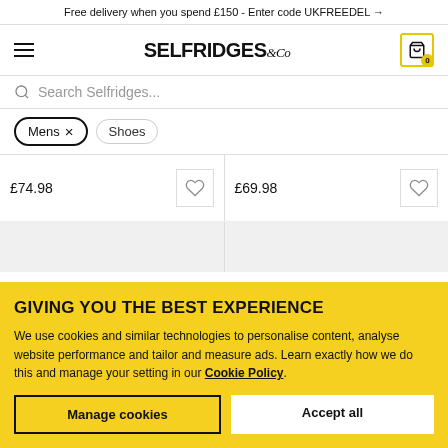Free delivery when you spend £150 - Enter code UKFREEDEL →
[Figure (logo): Selfridges & Co logo with hamburger menu and shopping cart icon showing 0 items]
Search Selfridges...
Mens × Shoes
£74.98
£69.98
GIVING YOU THE BEST EXPERIENCE
We use cookies and similar technologies to personalise content, analyse website performance and tailor and measure ads. Learn exactly how we do this and manage your setting in our Cookie Policy.
Manage cookies
Accept all